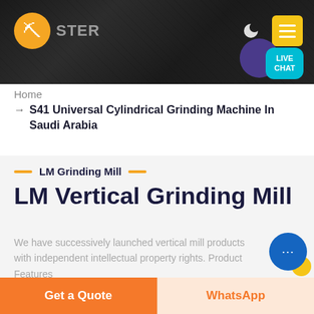[Figure (screenshot): Website header banner with dark background showing mining/industrial machinery, orange logo with hard hat icon on left, moon icon and yellow hamburger menu button on right, turquoise LIVE CHAT speech bubble in bottom right]
Home
→ S41 Universal Cylindrical Grinding Machine In Saudi Arabia
LM Grinding Mill
LM Vertical Grinding Mill
We have successively launched vertical mill products with independent intellectual property rights. Product Features
Get a Quote
WhatsApp